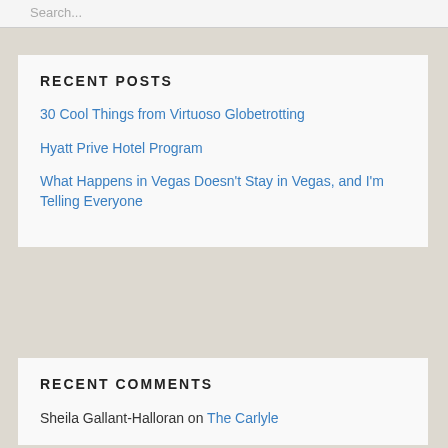Search...
RECENT POSTS
30 Cool Things from Virtuoso Globetrotting
Hyatt Prive Hotel Program
What Happens in Vegas Doesn't Stay in Vegas, and I'm Telling Everyone
RECENT COMMENTS
Sheila Gallant-Halloran on The Carlyle